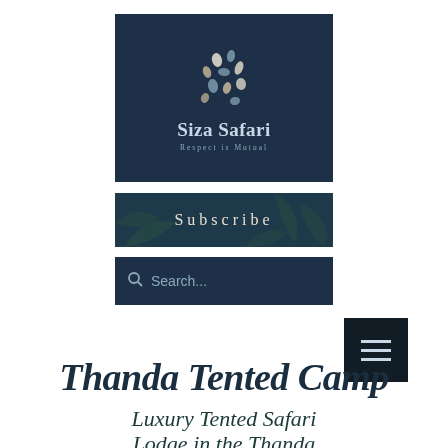[Figure (logo): Siza Safari logo on dark navy background with decorative animal-print pattern icon and text 'Siza Safari' and tagline 'Respect is Mutual']
[Figure (other): Subscribe banner button with dark teal background and leaf/botanical pattern, text 'Subscribe' in spaced serif letters]
[Figure (other): Search bar on dark navy background with magnifying glass icon and placeholder text 'Search...']
[Figure (other): Hamburger menu button (three horizontal lines) on dark background]
Thanda Tented Camp
Luxury Tented Safari Lodge in the Thanda